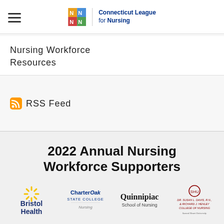Connecticut League for Nursing
Nursing Workforce
Resources
RSS Feed
2022 Annual Nursing Workforce Supporters
[Figure (logo): Bristol Health logo with yellow sunburst and bold text]
[Figure (logo): Charter Oak State College Nursing logo]
[Figure (logo): Quinnipiac School of Nursing logo]
[Figure (logo): Dr. Susan L. Davis, R.N., & Richard J. Henley College of Nursing, Sacred Heart University logo]